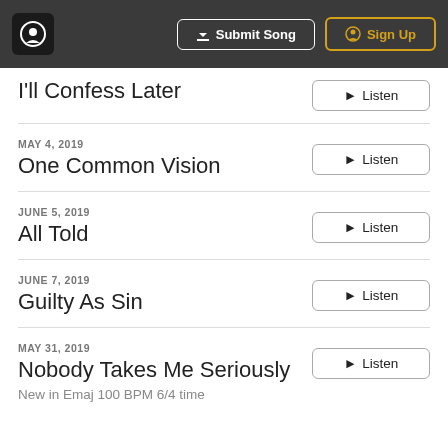Submit Song | Sign Up
I'll Confess Later
MAY 4, 2019
One Common Vision
JUNE 5, 2019
All Told
JUNE 7, 2019
Guilty As Sin
MAY 31, 2019
Nobody Takes Me Seriously
New in Emaj 100 BPM 6/4 time